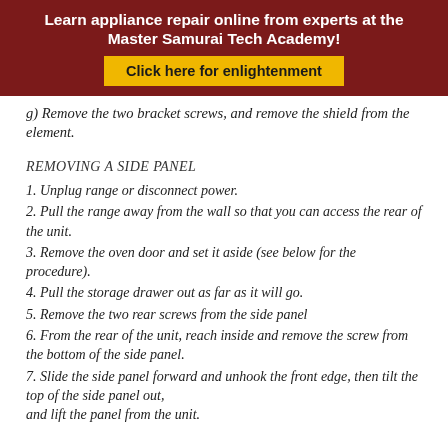Learn appliance repair online from experts at the Master Samurai Tech Academy!
Click here for enlightenment
g) Remove the two bracket screws, and remove the shield from the element.
REMOVING A SIDE PANEL
1. Unplug range or disconnect power.
2. Pull the range away from the wall so that you can access the rear of the unit.
3. Remove the oven door and set it aside (see below for the procedure).
4. Pull the storage drawer out as far as it will go.
5. Remove the two rear screws from the side panel
6. From the rear of the unit, reach inside and remove the screw from the bottom of the side panel.
7. Slide the side panel forward and unhook the front edge, then tilt the top of the side panel out, and lift the panel from the unit.